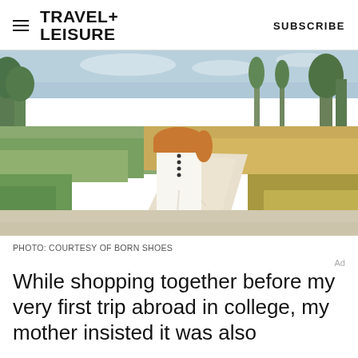TRAVEL+ LEISURE   SUBSCRIBE
[Figure (photo): Person standing on a sandy path outdoors wearing an orange top and white midi skirt with button front slit, and woven flat sandals. Surrounded by green scrub grass and trees under a partly cloudy sky.]
PHOTO: COURTESY OF BORN SHOES
While shopping together before my very first trip abroad in college, my mother insisted it was also